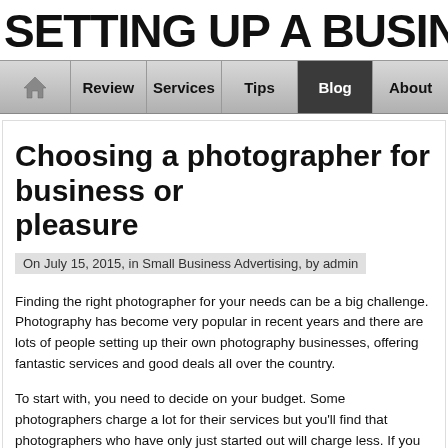SETTING UP A BUSINESS
Review | Services | Tips | Blog | About
Choosing a photographer for business or pleasure
On July 15, 2015, in Small Business Advertising, by admin
Finding the right photographer for your needs can be a big challenge. Photography has become very popular in recent years and there are lots of people setting up their own photography businesses, offering fantastic services and good deals all over the country.
To start with, you need to decide on your budget. Some photographers charge a lot for their services but you'll find that photographers who have only just started out will charge less. If you're on a tight budget, spend as little as possible, but if you want to ensure a professional photograph is taken you might need to spend a little more to guarantee the perfect photos.
Check out a photographers portfolio to see examples of their work – this is an